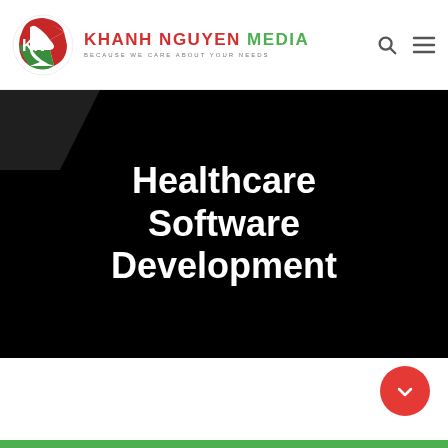[Figure (logo): Khanh Nguyen Media logo with KN circular icon in red and green, company name in red/green bold letters, tagline BECAUSE WE CARE ABOUT YOUR NEEDS]
Healthcare Software Development
[Figure (illustration): Dark/black hero banner background with gray shape at top left]
[Figure (other): Red circular scroll/arrow button at bottom right]
[Figure (illustration): Green bar at bottom of page, partially visible content below]